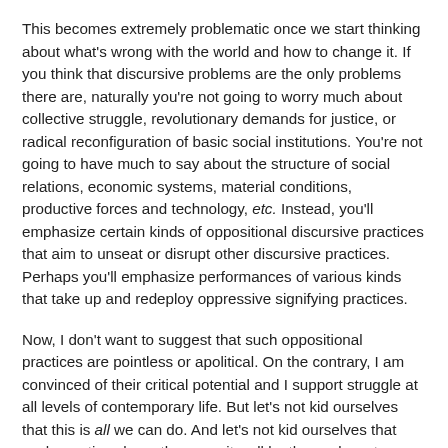This becomes extremely problematic once we start thinking about what's wrong with the world and how to change it. If you think that discursive problems are the only problems there are, naturally you're not going to worry much about collective struggle, revolutionary demands for justice, or radical reconfiguration of basic social institutions. You're not going to have much to say about the structure of social relations, economic systems, material conditions, productive forces and technology, etc. Instead, you'll emphasize certain kinds of oppositional discursive practices that aim to unseat or disrupt other discursive practices. Perhaps you'll emphasize performances of various kinds that take up and redeploy oppressive signifying practices.
Now, I don't want to suggest that such oppositional practices are pointless or apolitical. On the contrary, I am convinced of their critical potential and I support struggle at all levels of contemporary life. But let's not kid ourselves that this is all we can do. And let's not kid ourselves that such practices have the capacity, all by themselves, to spontaneously shake the foundations of the status quo.